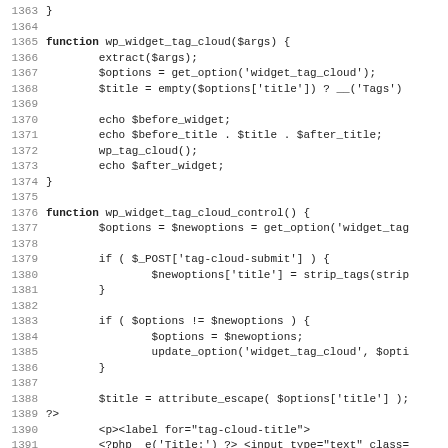Source code listing lines 1363-1395 showing PHP functions wp_widget_tag_cloud and wp_widget_tag_cloud_control